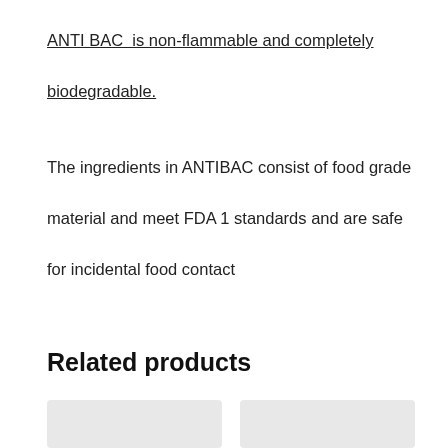ANTI BAC  is non-flammable and completely biodegradable.
The ingredients in ANTIBAC consist of food grade material and meet FDA 1 standards and are safe for incidental food contact
Related products